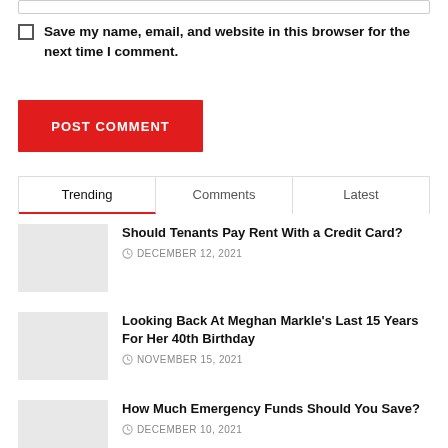Save my name, email, and website in this browser for the next time I comment.
POST COMMENT
Trending | Comments | Latest
Should Tenants Pay Rent With a Credit Card?
DECEMBER 12, 2021
Looking Back At Meghan Markle's Last 15 Years For Her 40th Birthday
NOVEMBER 15, 2021
How Much Emergency Funds Should You Save?
DECEMBER 10, 2021